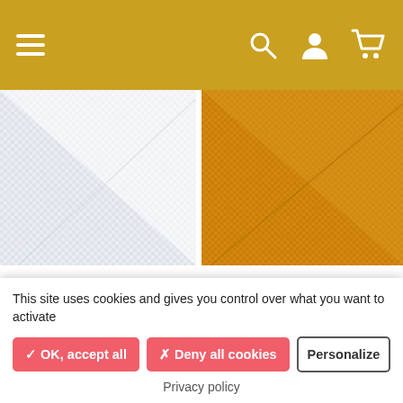Navigation header with hamburger menu, search, account, and cart icons
[Figure (photo): White woven fabric swatch with diagonal fold showing texture]
Tissu Toile ajourée Elois Spécial extérieur - blanc x 10cm
[Figure (photo): Yellow/curry colored woven fabric swatch with diagonal fold showing texture]
Tissu Toile ajourée Oxa Spécial extérieur - jaune curry x...
This site uses cookies and gives you control over what you want to activate
✓ OK, accept all   ✗ Deny all cookies   Personalize
Privacy policy